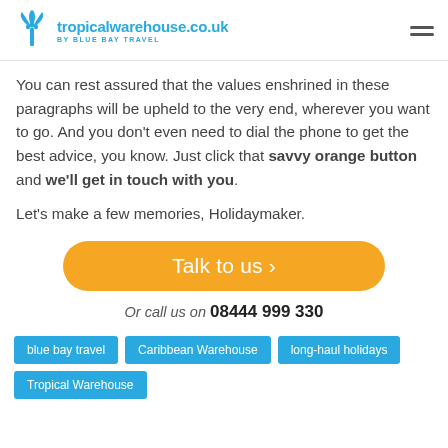tropicalwarehouse.co.uk BY BLUE BAY TRAVEL
You can rest assured that the values enshrined in these paragraphs will be upheld to the very end, wherever you want to go. And you don't even need to dial the phone to get the best advice, you know. Just click that savvy orange button and we'll get in touch with you.
Let's make a few memories, Holidaymaker.
[Figure (other): Orange rounded button with text 'Talk to us ›']
Or call us on 08444 999 330
blue bay travel   Caribbean Warehouse   long-haul holidays   Tropical Warehouse